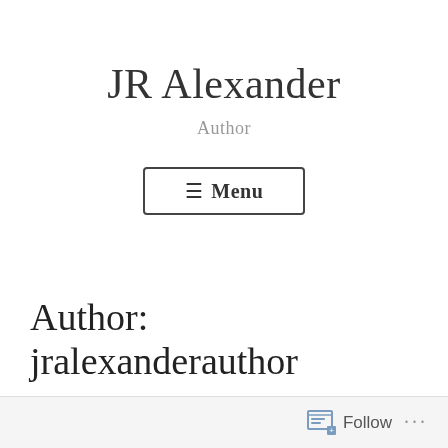JR Alexander
Author
[Figure (other): Menu button with hamburger icon and text 'Menu', styled with a rectangular border]
Author: jralexanderauthor
Follow ...